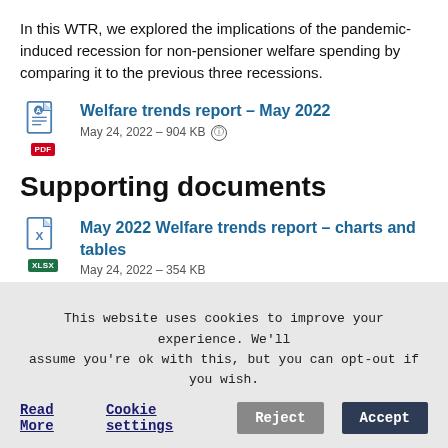In this WTR, we explored the implications of the pandemic-induced recession for non-pensioner welfare spending by comparing it to the previous three recessions.
[Figure (other): PDF document icon with red PDF badge]
Welfare trends report – May 2022
May 24, 2022 – 904 KB ℹ
Supporting documents
[Figure (other): XLSX document icon with green XLSX badge]
May 2022 Welfare trends report – charts and tables
May 24, 2022 – 354 KB
This website uses cookies to improve your experience. We'll assume you're ok with this, but you can opt-out if you wish.
Read More    Cookie settings    Reject    Accept